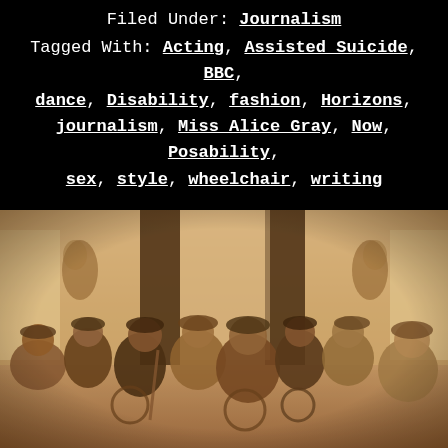Filed Under: Journalism
Tagged With: Acting, Assisted Suicide, BBC, dance, Disability, fashion, Horizons, journalism, Miss Alice Gray, Now, Posability, sex, style, wheelchair, writing
[Figure (photo): Sepia-toned group photo of approximately nine people, several in wheelchairs, posing together in a room with curtains and decorative elements in the background. Most people are wearing flat caps or hats.]